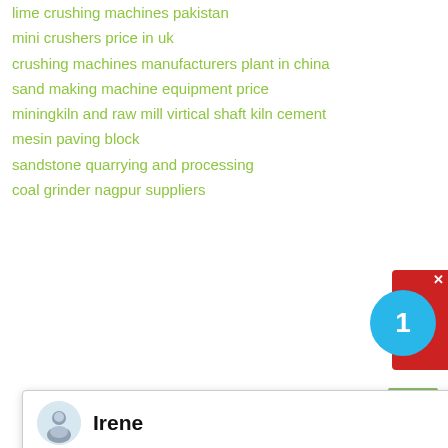lime crushing machines pakistan
mini crushers price in uk
crushing machines manufacturers plant in china
sand making machine equipment price
miningkiln and raw mill virtical shaft kiln cement
mesin paving block
sandstone quarrying and processing
coal grinder nagpur suppliers
[Figure (screenshot): Chat popup with avatar of Irene, message: Please choose the language you prefer:1.English 2.Español 3.русский 4.Français 5.bahasa Indonesia 6. عربسعربي, with close X button]
fabricated vial crusher
ratio of gypsum rock gypsum poderri
keegor jaw crusher
removal sulfur and ash at coal equipment
premier us type grinder dealer in coimbatore
sand washer mm to mm
jaw crusher production rates
floor sanding machine philippines
high quality impact cone crusher